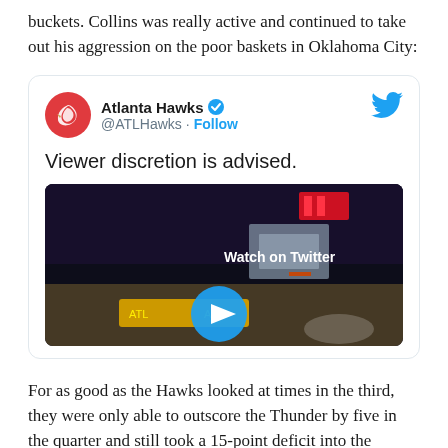buckets. Collins was really active and continued to take out his aggression on the poor baskets in Oklahoma City:
[Figure (screenshot): Embedded tweet from Atlanta Hawks (@ATLHawks) with text 'Viewer discretion is advised.' and a video thumbnail showing a basketball hoop with a 'Watch on Twitter' overlay and a play button.]
For as good as the Hawks looked at times in the third, they were only able to outscore the Thunder by five in the quarter and still took a 15-point deficit into the